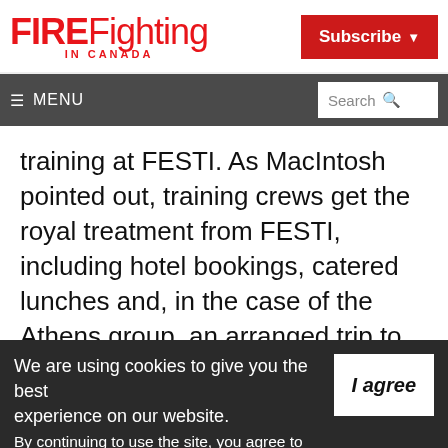FIREFighting IN CANADA | Subscribe
≡ MENU | Search
training at FESTI. As MacIntosh pointed out, training crews get the royal treatment from FESTI, including hotel bookings, catered lunches and, in the case of the Athens group, an arranged trip to Niagara Falls.
We are using cookies to give you the best experience on our website. By continuing to use the site, you agree to the use of cookies. To find out more, read our privacy policy.